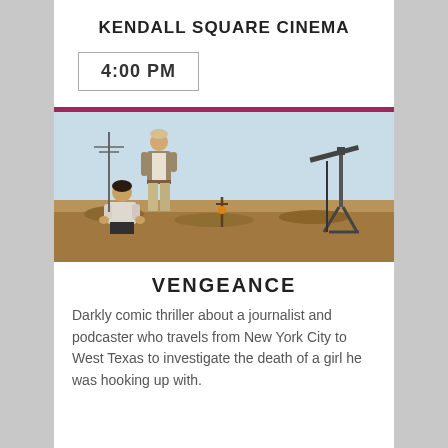KENDALL SQUARE CINEMA
4:00 PM
[Figure (photo): Two men in a dry desert landscape with an oil pump jack in the background. One man stands wearing a jacket, the other crouches in the foreground.]
VENGEANCE
Darkly comic thriller about a journalist and podcaster who travels from New York City to West Texas to investigate the death of a girl he was hooking up with.